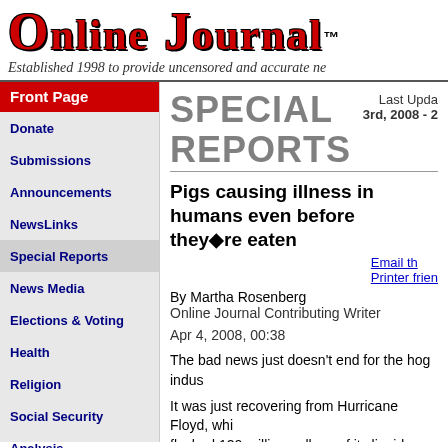Online Journal™ — Established 1998 to provide uncensored and accurate ne…
Front Page
Donate
Submissions
Announcements
NewsLinks
Special Reports
News Media
Elections & Voting
Health
Religion
Social Security
Analysis
SPECIAL REPORTS
Last Update 3rd, 2008 - 2…
Pigs causing illness in humans even before they◆re eaten
By Martha Rosenberg
Online Journal Contributing Writer
Apr 4, 2008, 00:38
The bad news just doesn't end for the hog indus…
It was just recovering from Hurricane Floyd, which flushed 120 million gallons of its liquid manure in… floodwaters and drowned 20,000 hogs in their ca… when New York Times reporter Charlie LeDuff w…